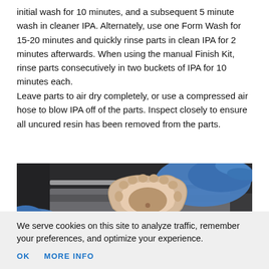initial wash for 10 minutes, and a subsequent 5 minute wash in cleaner IPA. Alternately, use one Form Wash for 15-20 minutes and quickly rinse parts in clean IPA for 2 minutes afterwards. When using the manual Finish Kit, rinse parts consecutively in two buckets of IPA for 10 minutes each.
Leave parts to air dry completely, or use a compressed air hose to blow IPA off of the parts. Inspect closely to ensure all uncured resin has been removed from the parts.
[Figure (photo): A gloved hand (blue nitrile glove) holding a 3D-printed dental model (arch shape, beige/pink color) over a washing station with dark background equipment visible.]
We serve cookies on this site to analyze traffic, remember your preferences, and optimize your experience.
OK   MORE INFO